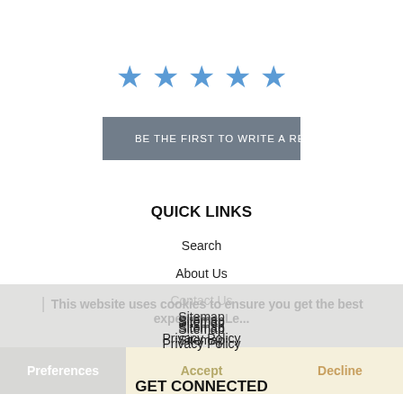[Figure (other): Five blue star icons in a row representing a rating widget]
BE THE FIRST TO WRITE A REVIEW
QUICK LINKS
Search
About Us
Contact Us
Sitemap
Privacy Policy
Terms and Conditions of Supply
Website Terms of Use
This website uses cookies to ensure you get the best experience. Le...
Preferences
Accept
Decline
GET CONNECTED